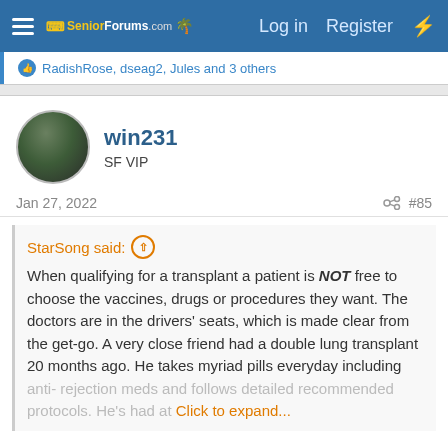SeniorForums.com — Log in  Register
RadishRose, dseag2, Jules and 3 others
win231
SF VIP
Jan 27, 2022   #85
StarSong said:
When qualifying for a transplant a patient is NOT free to choose the vaccines, drugs or procedures they want. The doctors are in the drivers' seats, which is made clear from the get-go. A very close friend had a double lung transplant 20 months ago. He takes myriad pills everyday including anti- rejection meds and follows detailed recommended protocols. He's had at... [Click to expand...]
Mickey Mantle's transplant did not cost "The one life."